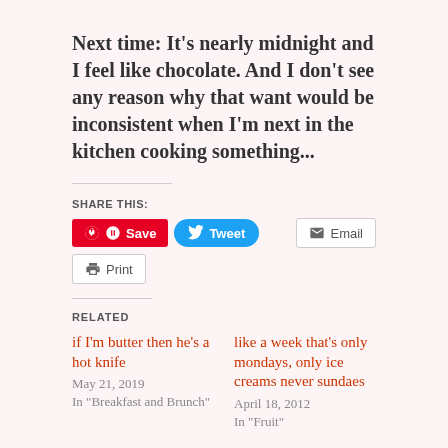Next time: It's nearly midnight and I feel like chocolate. And I don't see any reason why that want would be inconsistent when I'm next in the kitchen cooking something...
SHARE THIS:
Save | Tweet | Email | Print
RELATED
if I'm butter then he's a hot knife
May 21, 2019
In "Breakfast and Brunch"
like a week that's only mondays, only ice creams never sundaes
April 18, 2012
In "Fruit"
girls would turn the color of the avocado